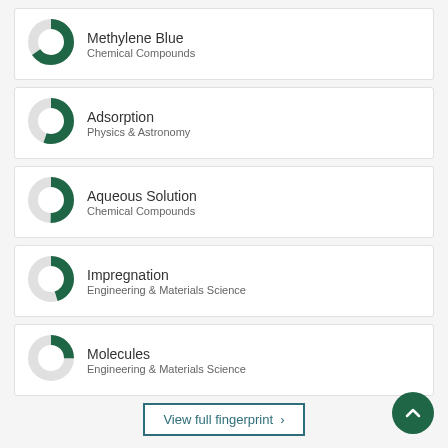[Figure (donut-chart): Donut chart ~65% filled green, label: Methylene Blue / Chemical Compounds]
[Figure (donut-chart): Donut chart ~55% filled green, label: Adsorption / Physics & Astronomy]
[Figure (donut-chart): Donut chart ~50% filled green, label: Aqueous Solution / Chemical Compounds]
[Figure (donut-chart): Donut chart ~45% filled green, label: Impregnation / Engineering & Materials Science]
[Figure (donut-chart): Donut chart ~25% filled green, label: Molecules / Engineering & Materials Science]
View full fingerprint >